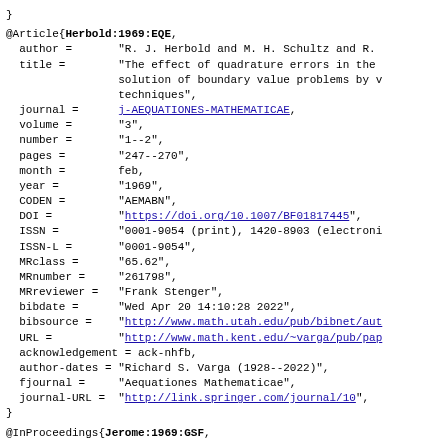}
@Article{Herbold:1969:EQE,
  author =       "R. J. Herbold and M. H. Schultz and R.
  title =        "The effect of quadrature errors in the
                 solution of boundary value problems by v
                 techniques",
  journal =      j-AEQUATIONES-MATHEMATICAE,
  volume =       "3",
  number =       "1--2",
  pages =        "247--270",
  month =        feb,
  year =         "1969",
  CODEN =        "AEMABN",
  DOI =          "https://doi.org/10.1007/BF01817445",
  ISSN =         "0001-9054 (print), 1420-8903 (electroni
  ISSN-L =       "0001-9054",
  MRclass =      "65.62",
  MRnumber =     "261798",
  MRreviewer =   "Frank Stenger",
  bibdate =      "Wed Apr 20 14:10:28 2022",
  bibsource =    "http://www.math.utah.edu/pub/bibnet/aut
  URL =          "http://www.math.kent.edu/~varga/pub/pap
  acknowledgement = ack-nhfb,
  author-dates = "Richard S. Varga (1928--2022)",
  fjournal =     "Aequationes Mathematicae",
  journal-URL =  "http://link.springer.com/journal/10",
}
@InProceedings{Jerome:1969:GSF,